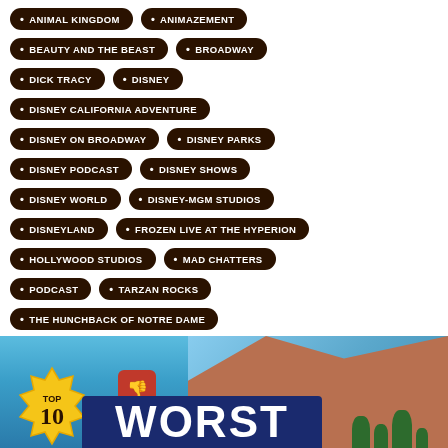ANIMAL KINGDOM
ANIMAZEMENT
BEAUTY AND THE BEAST
BROADWAY
DICK TRACY
DISNEY
DISNEY CALIFORNIA ADVENTURE
DISNEY ON BROADWAY
DISNEY PARKS
DISNEY PODCAST
DISNEY SHOWS
DISNEY WORLD
DISNEY-MGM STUDIOS
DISNEYLAND
FROZEN LIVE AT THE HYPERION
HOLLYWOOD STUDIOS
MAD CHATTERS
PODCAST
TARZAN ROCKS
THE HUNCHBACK OF NOTRE DAME
WALT DISNEY WORLD
[Figure (photo): Photo showing a building exterior with a 'TOP 10 WORST' banner/sign, with blue sky and trees in background. Gold badge with 'TOP 10' and red thumbs-down icon visible.]